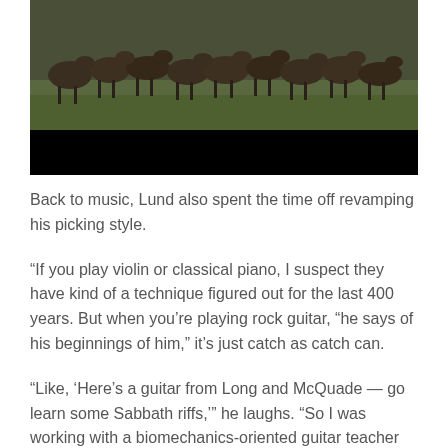[Figure (photo): Photo of horses on a grassy field, partially cropped at top, with a black bar at the bottom]
Back to music, Lund also spent the time off revamping his picking style.
“If you play violin or classical piano, I suspect they have kind of a technique figured out for the last 400 years. But when you’re playing rock guitar, “he says of his beginnings of him,” it’s just catch as catch can.
“Like, ‘Here’s a guitar from Long and McQuade — go learn some Sabbath riffs,’” he laughs. “So I was working with a biomechanics-oriented guitar teacher from Chicago over Zoom. It’s just a much smoother, more relaxed picking technique.”